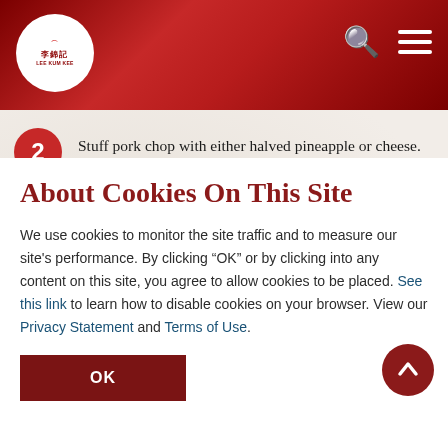Lee Kum Kee header with logo, search and menu icons
2 Stuff pork chop with either halved pineapple or cheese.
3 Mix flour with Italian herbs. Brush pork chop with beaten egg and then coat with flour. Pan-fry or deep-fry in hot oil until golden yellow and done.
About Cookies On This Site
We use cookies to monitor the site traffic and to measure our site's performance. By clicking “OK” or by clicking into any content on this site, you agree to allow cookies to be placed. See this link to learn how to disable cookies on your browser. View our Privacy Statement and Terms of Use.
OK